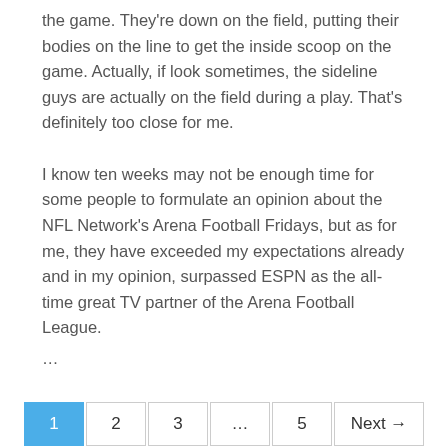the game. They're down on the field, putting their bodies on the line to get the inside scoop on the game. Actually, if look sometimes, the sideline guys are actually on the field during a play. That's definitely too close for me.
I know ten weeks may not be enough time for some people to formulate an opinion about the NFL Network's Arena Football Fridays, but as for me, they have exceeded my expectations already and in my opinion, surpassed ESPN as the all-time great TV partner of the Arena Football League.
...
1  2  3  ...  5  Next →